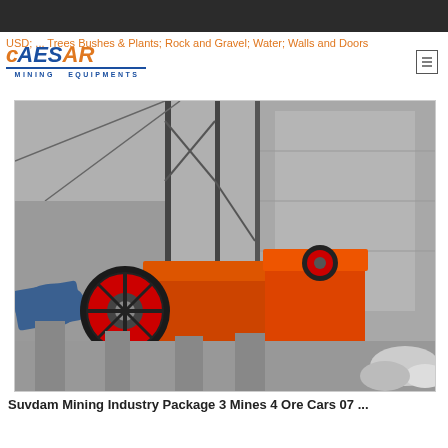USD; ... Trees Bushes & Plants; Rock and Gravel; Water; Walls and Doors
[Figure (logo): Caesar Mining Equipments logo with stylized text in orange and blue]
[Figure (photo): Industrial mining jaw crusher machine in orange color installed at a construction/mining site with concrete structure and scaffolding in background]
Suvdam Mining Industry Package 3 Mines 4 Ore Cars 07 ...